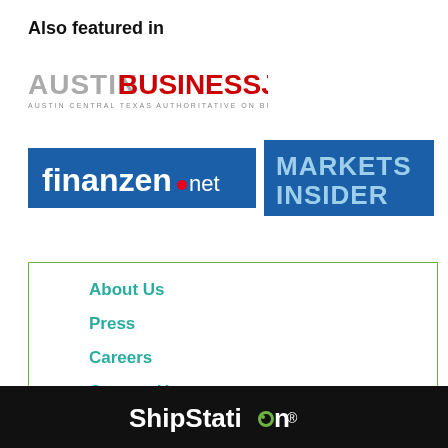Also featured in
[Figure (logo): Austin Business Journal logo — grey 'AUSTIN' text followed by red 'BUSINESSJOURNAL' text with tagline below]
[Figure (logo): finanzen.net logo — white bold text on blue background with red dot]
[Figure (logo): Markets Insider logo — light blue text on dark blue background]
About Us
Press
Careers
Contact Us
[Figure (logo): ShipStation logo in white on black background]